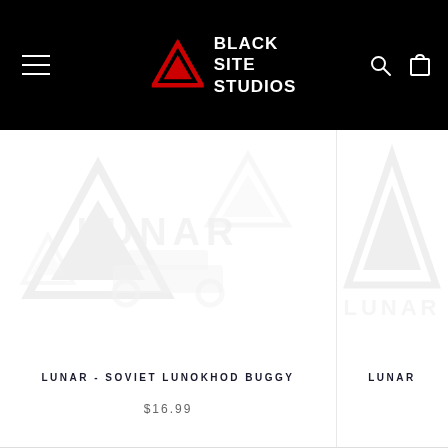BLACK SITE STUDIOS
[Figure (screenshot): Product image placeholder with ghosted Black Site Studios logo watermark for Lunar - Soviet Lunokhod Buggy]
LUNAR - SOVIET LUNOKHOD BUGGY
$16.99
[Figure (screenshot): Partial product image placeholder with ghosted Black Site Studios logo watermark for second lunar product]
LUNAR